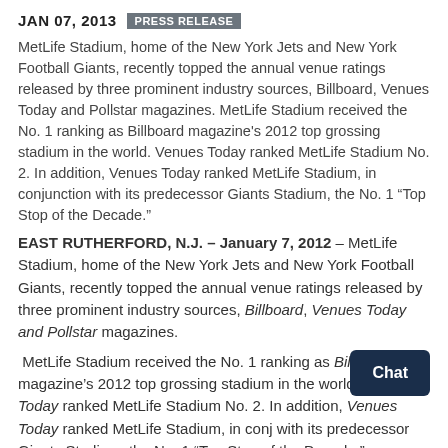JAN 07, 2013  PRESS RELEASE
MetLife Stadium, home of the New York Jets and New York Football Giants, recently topped the annual venue ratings released by three prominent industry sources, Billboard, Venues Today and Pollstar magazines. MetLife Stadium received the No. 1 ranking as Billboard magazine's 2012 top grossing stadium in the world. Venues Today ranked MetLife Stadium No. 2. In addition, Venues Today ranked MetLife Stadium, in conjunction with its predecessor Giants Stadium, the No. 1 “Top Stop of the Decade.”
EAST RUTHERFORD, N.J. – January 7, 2012 – MetLife Stadium, home of the New York Jets and New York Football Giants, recently topped the annual venue ratings released by three prominent industry sources, Billboard, Venues Today and Pollstar magazines.
MetLife Stadium received the No. 1 ranking as Billboard magazine’s 2012 top grossing stadium in the world. Venues Today ranked MetLife Stadium No. 2. In addition, Venues Today ranked MetLife Stadium, in conjunction with its predecessor Giants Stadium, the No. 1 “Top Stop of the Decade.”